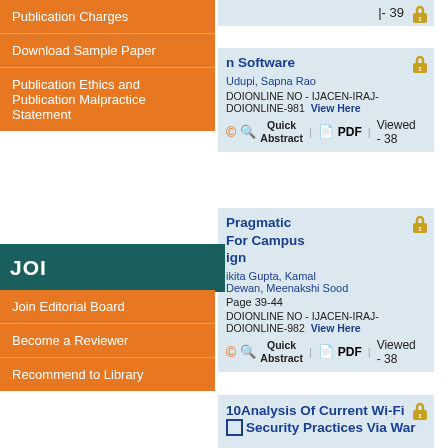Publication Charges
Download Sample Paper
Publication Ethics and Publication Malpractice Statement
Viewed - 39
n Software
Udupi, Sapna Rao
DOIONLINE NO - IJACEN-IRAJ-DOIONLINE-981  View Here
Quick Abstract  PDF  Viewed - 38
Join Editorial Board
Become a Reviewer
Recommend to Library
Pragmatic For Campus ign
ikita Gupta, Kamal Dewan, Meenakshi Sood
Page 39-44
DOIONLINE NO - IJACEN-IRAJ-DOIONLINE-982  View Here
Quick Abstract  PDF  Viewed - 38
10 Analysis Of Current Wi-Fi Security Practices Via War